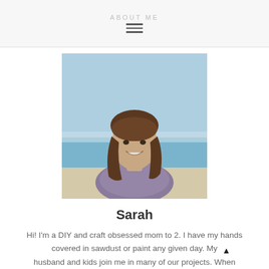ABOUT ME
[Figure (photo): Portrait photo of a smiling woman with long brown hair, wearing a grey patterned top, photographed outdoors at a beach with ocean and sky in background.]
Sarah
Hi! I'm a DIY and craft obsessed mom to 2. I have my hands covered in sawdust or paint any given day. My husband and kids join me in many of our projects. When we aren't creating at home, we're creating memories in